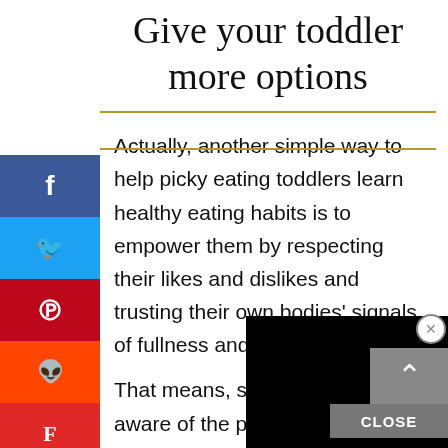Give your toddler more options
Actually, another simple way to help picky eating toddlers learn healthy eating habits is to empower them by respecting their likes and dislikes and trusting their own bodies' signals of fullness and hunger.
[Figure (screenshot): Black video/ad overlay covering part of the article text]
That means, strive to remain aware of the possibility that you're projecting your own food preferences onto your children.